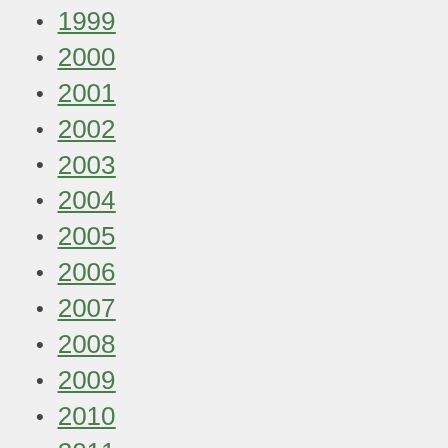1999
2000
2001
2002
2003
2004
2005
2006
2007
2008
2009
2010
2011
2012
2013
2014
2015
2016
2017